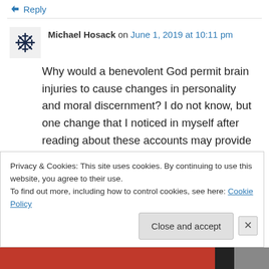↳ Reply
Michael Hosack on June 1, 2019 at 10:11 pm
Why would a benevolent God permit brain injuries to cause changes in personality and moral discernment? I do not know, but one change that I noticed in myself after reading about these accounts may provide a partial answer: I am more humble and less judgmental. Knowing that personal characteristics that have
Privacy & Cookies: This site uses cookies. By continuing to use this website, you agree to their use.
To find out more, including how to control cookies, see here: Cookie Policy
Close and accept